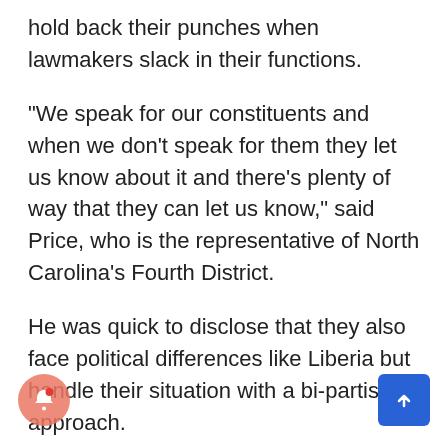hold back their punches when lawmakers slack in their functions.
“We speak for our constituents and when we don’t speak for them they let us know about it and there’s plenty of way that they can let us know,” said Price, who is the representative of North Carolina’s Fourth District.
He was quick to disclose that they also face political differences like Liberia but handle their situation with a bi-partisan approach.
“That is independent of who our president might be and what kind of party is in control,” he said.
Bipartisanship is when two political parties, like the context of the United States, put their